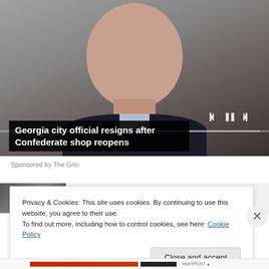[Figure (screenshot): Video player showing close-up photo of older man in dark suit against gray background, with playback controls (skip back, pause, skip forward) and a progress bar overlay]
Georgia city official resigns after Confederate shop reopens
Sponsored by The Grio
[Figure (screenshot): Partial view of a second article thumbnail and title below the video]
Privacy & Cookies: This site uses cookies. By continuing to use this website, you agree to their use.
To find out more, including how to control cookies, see here: Cookie Policy
Close and accept